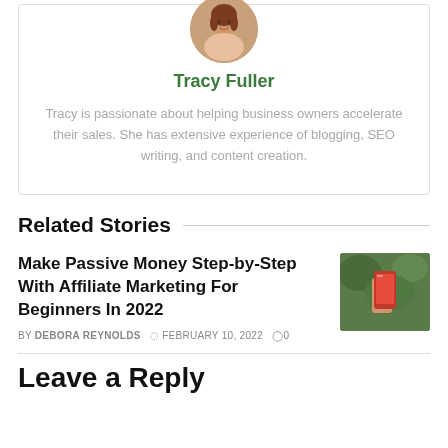[Figure (photo): Author avatar photo of Tracy Fuller, a woman with brown hair, shown in a circular crop]
Tracy Fuller
Tracy is passionate about helping business owners accelerate their sales. She has extensive experience of blogging, SEO writing, and content creation.
Related Stories
Make Passive Money Step-by-Step With Affiliate Marketing For Beginners In 2022
BY DEBORA REYNOLDS  FEBRUARY 10, 2022  0
[Figure (photo): Thumbnail image showing a hand holding a red smartphone with green foliage in the background]
Leave a Reply